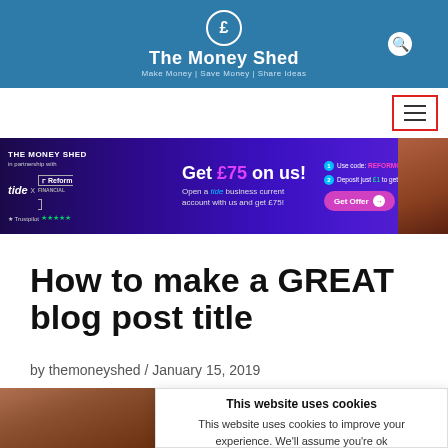The Money Shed – Make Money | Save Money | Share Ideas
[Figure (screenshot): Tide bank advertisement banner: Get £75 on us! Open a tide business current account with us and get £75! Use code: REFORMOFFER. Deposit just £1 to get offer. Get Offer button.]
How to make a GREAT blog post title
by themoneyshed / January 15, 2019
[Figure (photo): Partial photo of a person against a brick wall background.]
This website uses cookies
This website uses cookies to improve your experience. We'll assume you're ok